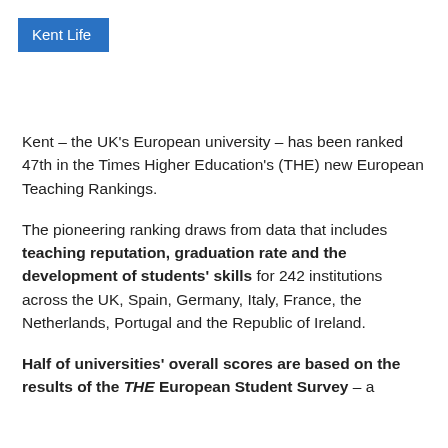Kent Life
Kent – the UK's European university – has been ranked 47th in the Times Higher Education's (THE) new European Teaching Rankings.
The pioneering ranking draws from data that includes teaching reputation, graduation rate and the development of students' skills for 242 institutions across the UK, Spain, Germany, Italy, France, the Netherlands, Portugal and the Republic of Ireland.
Half of universities' overall scores are based on the results of the THE European Student Survey – a